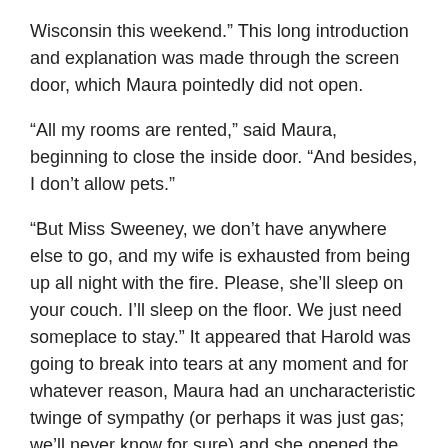Wisconsin this weekend.” This long introduction and explanation was made through the screen door, which Maura pointedly did not open.
“All my rooms are rented,” said Maura, beginning to close the inside door. “And besides, I don’t allow pets.”
“But Miss Sweeney, we don’t have anywhere else to go, and my wife is exhausted from being up all night with the fire. Please, she’ll sleep on your couch. I’ll sleep on the floor. We just need someplace to stay.” It appeared that Harold was going to break into tears at any moment and for whatever reason, Maura had an uncharacteristic twinge of sympathy (or perhaps it was just gas; we’ll never know for sure) and she opened the screen door just a crack.